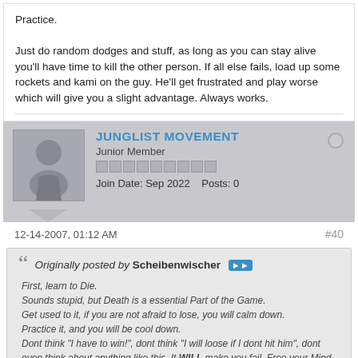Practice.

Just do random dodges and stuff, as long as you can stay alive you'll have time to kill the other person. If all else fails, load up some rockets and kami on the guy. He'll get frustrated and play worse which will give you a slight advantage. Always works.
JUNGLIST MOVEMENT
Junior Member
Join Date: Sep 2022    Posts: 0
12-14-2007, 01:12 AM
#40
Originally posted by Scheibenwischer
First, learn to Die.
Sounds stupid, but Death is a essential Part of the Game.
Get used to it, if you are not afraid to lose, you will calm down.
Practice it, and you will be cool down.
Dont think "I have to win!", dont think "I will loose if I dont hit him", dont even think about anything like this. It WILL make you fail. Free your Mind. Easy to say, but hard to learn.
Practice it, and you will be cool down.